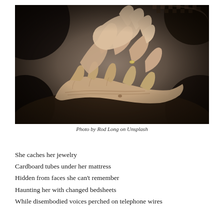[Figure (photo): Black and white photograph of multiple generations of hands held together — a baby's small hand, an adult's hand with a ring, and an elderly person's wrinkled hand resting on dark fabric.]
Photo by Rod Long on Unsplash
She caches her jewelry
Cardboard tubes under her mattress
Hidden from faces she can't remember
Haunting her with changed bedsheets
While disembodied voices perched on telephone wires